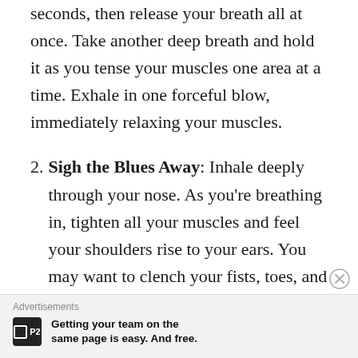seconds, then release your breath all at once. Take another deep breath and hold it as you tense your muscles one area at a time. Exhale in one forceful blow, immediately relaxing your muscles.
2. Sigh the Blues Away: Inhale deeply through your nose. As you're breathing in, tighten all your muscles and feel your shoulders rise to your ears. You may want to clench your fists, toes, and facial muscles.
Advertisements
P2 — Getting your team on the same page is easy. And free.